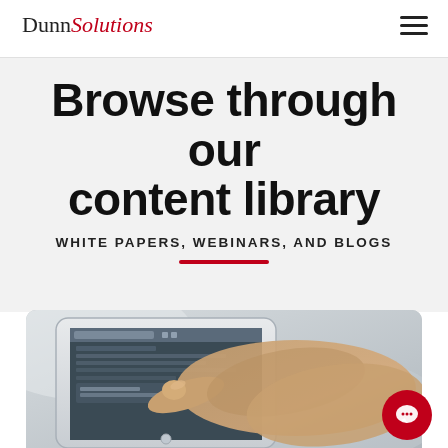DunnSolutions
Browse through our content library
WHITE PAPERS, WEBINARS, AND BLOGS
[Figure (photo): A hand touching a tablet device displaying a website or app interface, photographed in close-up with shallow depth of field.]